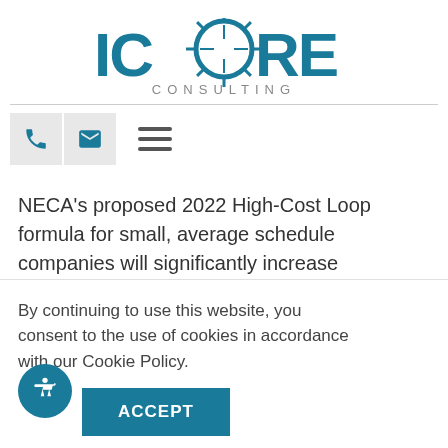[Figure (logo): ICORE CONSULTING logo in teal/blue with a starburst graphic replacing the O in ICORE]
[Figure (infographic): Navigation bar with phone icon, email icon, and hamburger menu]
NECA's proposed 2022 High-Cost Loop formula for small, average schedule companies will significantly increase settlements for 72 qualifying study areas. In 2021, 71 study areas received $3.875 million in HCL…
By continuing to use this website, you consent to the use of cookies in accordance with our Cookie Policy.
ACCEPT
ON